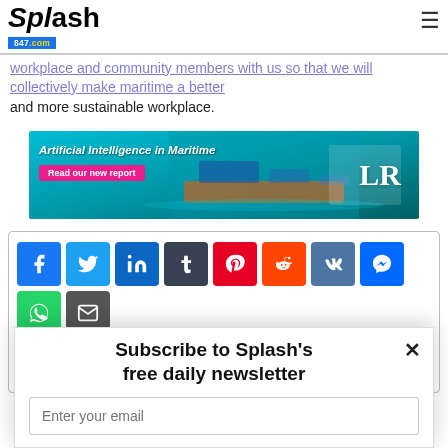Splash847.com
workplace and community members with us so that we will collectively make maritime a better and more sustainable workplace.
[Figure (infographic): Advertisement banner for Artificial Intelligence in Maritime report by LR (Lloyd's Register). Teal/blue background with ship image, text 'Artificial Intelligence in Maritime' and 'Read our new report' button in pink, LR logo on right.]
[Figure (infographic): Social media share buttons: Facebook, Twitter, LinkedIn, Tumblr, Pinterest, Reddit, VKontakte, Messenger, WhatsApp, Email, Print]
Subscribe to Splash's free daily newsletter
Enter your email